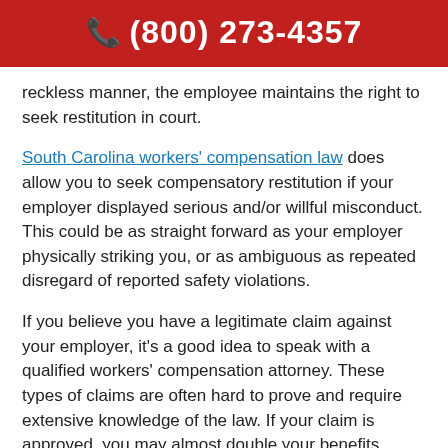☎ (800) 273-4357
reckless manner, the employee maintains the right to seek restitution in court.
South Carolina workers' compensation law does allow you to seek compensatory restitution if your employer displayed serious and/or willful misconduct. This could be as straight forward as your employer physically striking you, or as ambiguous as repeated disregard of reported safety violations.
If you believe you have a legitimate claim against your employer, it's a good idea to speak with a qualified workers' compensation attorney. These types of claims are often hard to prove and require extensive knowledge of the law. If your claim is approved, you may almost double your benefits.